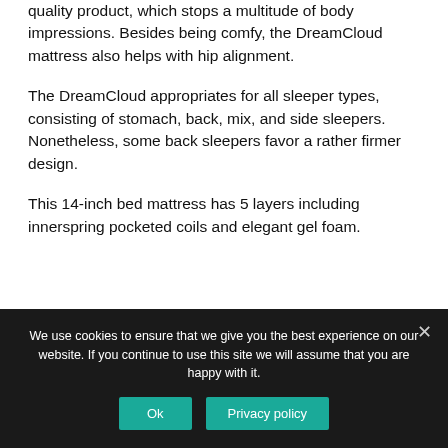quality product, which stops a multitude of body impressions. Besides being comfy, the DreamCloud mattress also helps with hip alignment.
The DreamCloud appropriates for all sleeper types, consisting of stomach, back, mix, and side sleepers. Nonetheless, some back sleepers favor a rather firmer design.
This 14-inch bed mattress has 5 layers including innerspring pocketed coils and elegant gel foam.
We use cookies to ensure that we give you the best experience on our website. If you continue to use this site we will assume that you are happy with it.